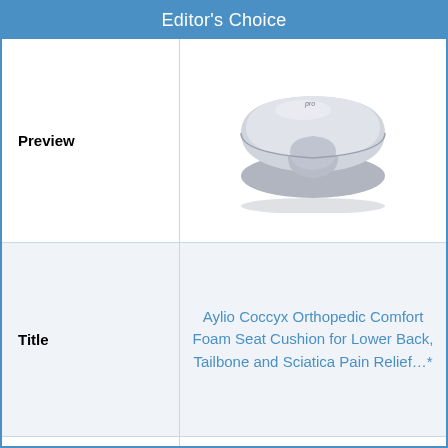Editor's Choice
|  |  |
| --- | --- |
| Preview | [product image: gray memory foam seat cushion] |
| Title | Aylio Coccyx Orthopedic Comfort Foam Seat Cushion for Lower Back, Tailbone and Sciatica Pain Relief…* |
| Style | Circular |
| Our Rating | ★★★★☆ |